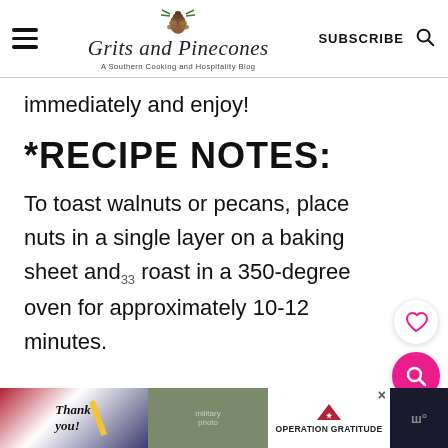Grits and Pinecones — A Southern Cooking and Hospitality Blog | SUBSCRIBE
immediately and enjoy!
*RECIPE NOTES:
To toast walnuts or pecans, place nuts in a single layer on a baking sheet and roast in a 350-degree oven for approximately 10-12 minutes.
[Figure (screenshot): Bottom advertisement banner: 'Thank you!' with American flag motif and Operation Gratitude military appreciation ad]